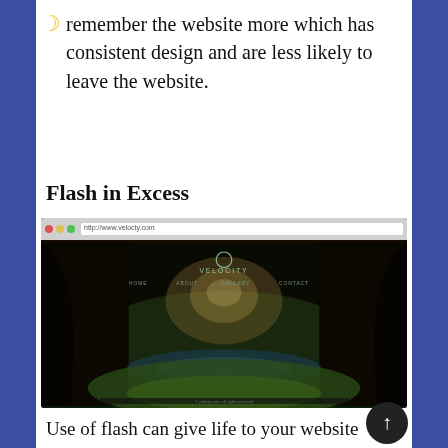remember the website more which has consistent design and are less likely to leave the website.
Flash in Excess
[Figure (screenshot): Screenshot of a website with a dark fantasy forest landscape theme, featuring a browser chrome at the top, a logo reading 'VELOCITY' in the center, and a navigation menu. The image shows a dramatic nature scene with trees, light rays, and a lake.]
Use of flash can give life to your website by adding advertisements banners, animations and more. It